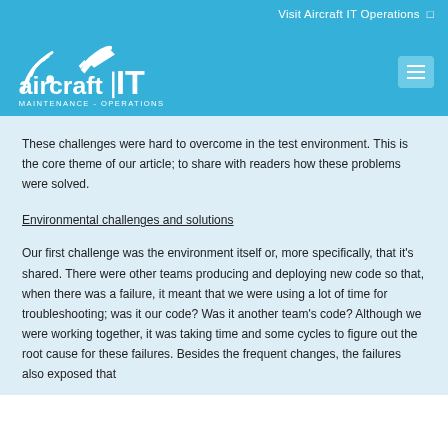Visit Aircraft IT Operations →
[Figure (logo): Aircraft IT Maintenance - Operations logo with aircraft icon on blue background]
These challenges were hard to overcome in the test environment. This is the core theme of our article; to share with readers how these problems were solved.
Environmental challenges and solutions
Our first challenge was the environment itself or, more specifically, that it's shared. There were other teams producing and deploying new code so that, when there was a failure, it meant that we were using a lot of time for troubleshooting; was it our code? Was it another team's code? Although we were working together, it was taking time and some cycles to figure out the root cause for these failures. Besides the frequent changes, the failures also exposed that